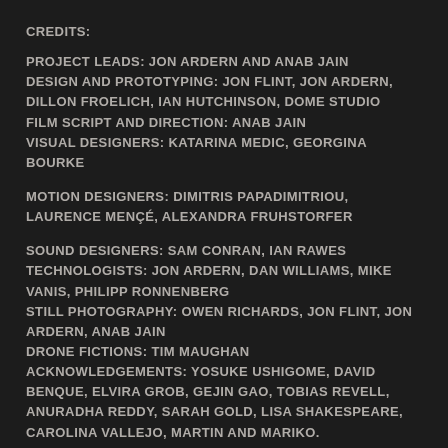CREDITS:
PROJECT LEADS: JON ARDERN AND ANAB JAIN
DESIGN AND PROTOTYPING: JON FLINT, JON ARDERN, DILLON FROELICH, IAN HUTCHINSON, DOME STUDIO
FILM SCRIPT AND DIRECTION: ANAB JAIN
VISUAL DESIGNERS: KATARINA MEDIC, GEORGINA BOURKE
MOTION DESIGNERS: DIMITRIS PAPADIMITRIOU, LAURENCE MENCÉ, ALEXANDRA FRUHSTORFER
SOUND DESIGNERS: SAM CONRAN, IAN RAWES
TECHNOLOGISTS: JON ARDERN, DAN WILLIAMS, MIKE VANIS, PHILIPP RONNENBERG
STILL PHOTOGRAPHY: OWEN RICHARDS, JON FLINT, JON ARDERN, ANAB JAIN
DRONE FICTIONS: TIM MAUGHAN
ACKNOWLEDGEMENTS: YOSUKE USHIGOME, DAVID BENQUE, ELVIRA GROB, GEJIN GAO, TOBIAS REVELL, ANURADHA REDDY, SARAH GOLD, LISA SHAKESPEARE, CAROLINA VALLEJO, MARTIN AND MARIKO.